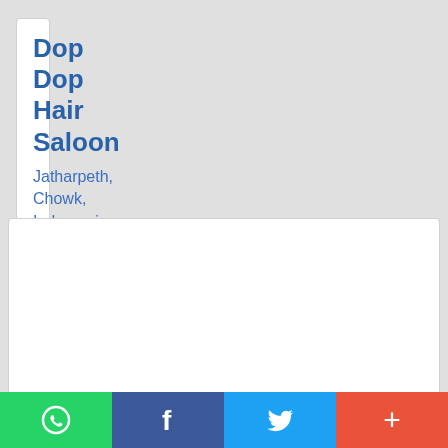Dop Dop Hair Saloon
Jatharpeth, Chowk, Indrayani Marg, Akola, Maharashtra 444001, India
Location: (20.7150584, 77.0152156)
Rating: 3.9/5 ★★★★☆ (43) Votes
[Figure (screenshot): Empty white card section below the business listing]
WhatsApp | Facebook | Twitter | +